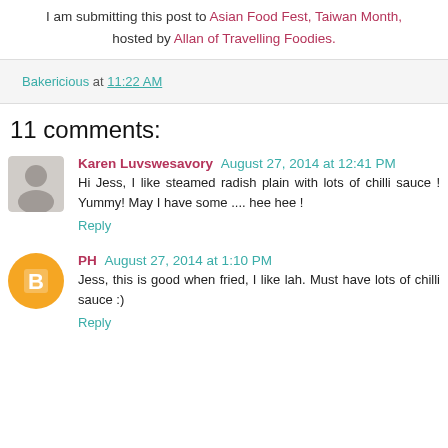I am submitting this post to Asian Food Fest, Taiwan Month, hosted by Allan of Travelling Foodies.
Bakericious at 11:22 AM
11 comments:
Karen Luvswesavory August 27, 2014 at 12:41 PM
Hi Jess, I like steamed radish plain with lots of chilli sauce ! Yummy! May I have some .... hee hee !
Reply
PH August 27, 2014 at 1:10 PM
Jess, this is good when fried, I like lah. Must have lots of chilli sauce :)
Reply